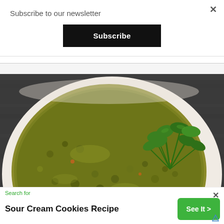Subscribe to our newsletter
Subscribe
[Figure (photo): A bowl of green lentil soup topped with fresh herb garnish (parsley), on a dark wooden surface]
Search for
Sour Cream Cookies Recipe
See It >